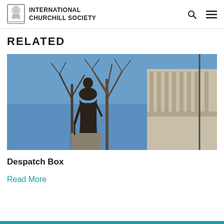INTERNATIONAL CHURCHILL SOCIETY
RELATED
[Figure (photo): Bronze statue of Winston Churchill from a low angle, with bare winter trees and a classical government building in the background under a clear blue sky.]
Despatch Box
Read More